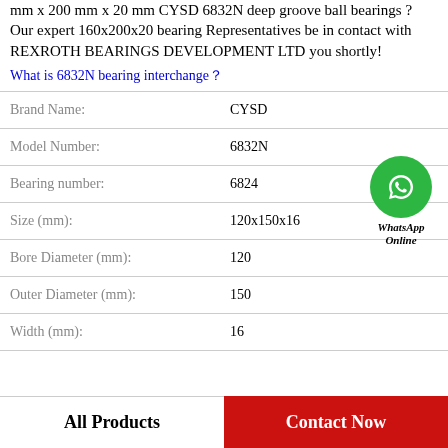mm x 200 mm x 20 mm CYSD 6832N deep groove ball bearings ? Our expert 160x200x20 bearing Representatives be in contact with REXROTH BEARINGS DEVELOPMENT LTD you shortly!
What is 6832N bearing interchange？
| Property | Value |
| --- | --- |
| Brand Name: | CYSD |
| Model Number: | 6832N |
| Bearing number: | 6824 |
| Size (mm): | 120x150x16 |
| Bore Diameter (mm): | 120 |
| Outer Diameter (mm): | 150 |
| Width (mm): | 16 |
[Figure (illustration): WhatsApp Online contact button — green circle with phone icon and text 'WhatsApp Online']
All Products    Contact Now